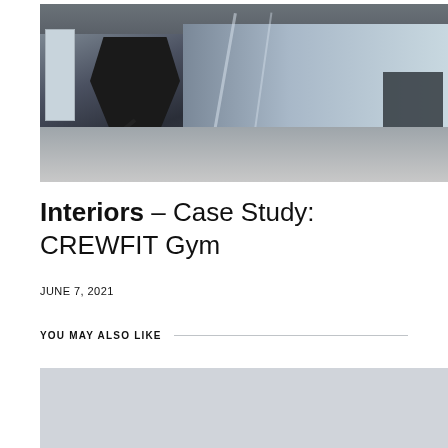[Figure (photo): A man doing battle rope exercises in a large, modern gym with high ceilings, industrial lighting strips, and gym equipment visible in the background.]
Interiors – Case Study: CREWFIT Gym
JUNE 7, 2021
YOU MAY ALSO LIKE
[Figure (photo): Partially visible preview image (light gray placeholder) for a related article.]